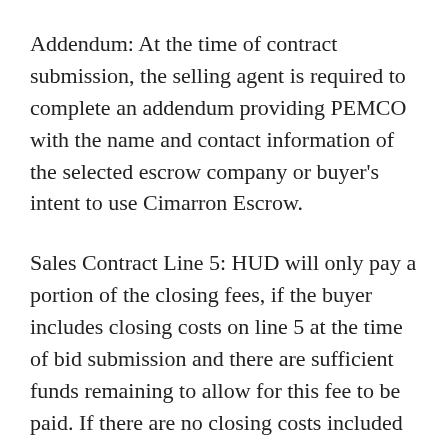Addendum: At the time of contract submission, the selling agent is required to complete an addendum providing PEMCO with the name and contact information of the selected escrow company or buyer's intent to use Cimarron Escrow.
Sales Contract Line 5: HUD will only pay a portion of the closing fees, if the buyer includes closing costs on line 5 at the time of bid submission and there are sufficient funds remaining to allow for this fee to be paid. If there are no closing costs included in the bid,